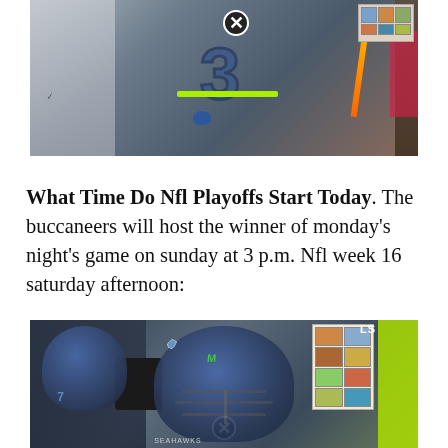[Figure (photo): NFL football player wearing jersey number 3 in Seahawks uniform, walking through tunnel or sideline area. Player is wearing navy and grey uniform with neon green accents.]
What Time Do Nfl Playoffs Start Today. The buccaneers will host the winner of monday's night's game on sunday at 3 p.m. Nfl week 16 saturday afternoon:
[Figure (photo): Seattle Seahawks players in navy blue helmets and uniforms walking out onto the field. Close-up of quarterback wearing helmet with Seahawks logo.]